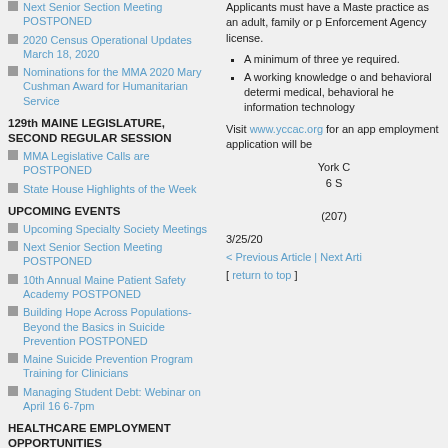Next Senior Section Meeting POSTPONED
2020 Census Operational Updates March 18, 2020
Nominations for the MMA 2020 Mary Cushman Award for Humanitarian Service
129th MAINE LEGISLATURE, SECOND REGULAR SESSION
MMA Legislative Calls are POSTPONED
State House Highlights of the Week
UPCOMING EVENTS
Upcoming Specialty Society Meetings
Next Senior Section Meeting POSTPONED
10th Annual Maine Patient Safety Academy POSTPONED
Building Hope Across Populations- Beyond the Basics in Suicide Prevention POSTPONED
Maine Suicide Prevention Program Training for Clinicians
Managing Student Debt: Webinar on April 16 6-7pm
HEALTHCARE EMPLOYMENT OPPORTUNITIES
BC/BE Family Medicine Physician - Lovejoy Health Center
Family Medicine Outpatient Physician
Applicants must have a Master practice as an adult, family or p Enforcement Agency license.
A minimum of three ye required.
A working knowledge o and behavioral determi medical, behavioral he information technology
Visit www.yccac.org for an app employment application will be
York C
6 S
(207)
3/25/20
< Previous Article | Next Arti
[ return to top ]